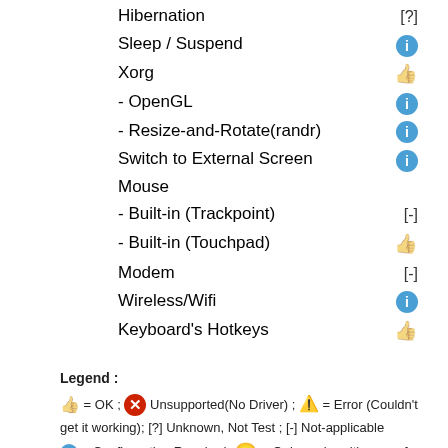Hibernation [?]
Sleep / Suspend [info icon]
Xorg [thumb icon]
- OpenGL [info icon]
- Resize-and-Rotate(randr) [info icon]
Switch to External Screen [info icon]
Mouse
- Built-in (Trackpoint) [-]
- Built-in (Touchpad) [thumb icon]
Modem [-]
Wireless/Wifi [info icon]
Keyboard's Hotkeys [thumb icon]
Legend : [thumb] = OK ; [X] Unsupported(No Driver) ; [!] = Error (Couldn't get it working); [?] Unknown, Not Test ; [-] Not-applicable [i] = Configuration Required; [sad] = Only works with a non-free driver and or firmware